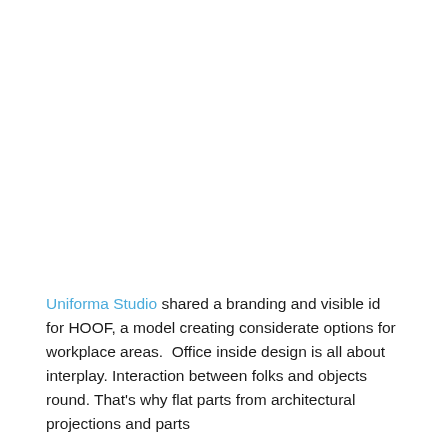Uniforma Studio shared a branding and visible id for HOOF, a model creating considerate options for workplace areas. Office inside design is all about interplay. Interaction between folks and objects round. That's why flat parts from architectural projections and parts